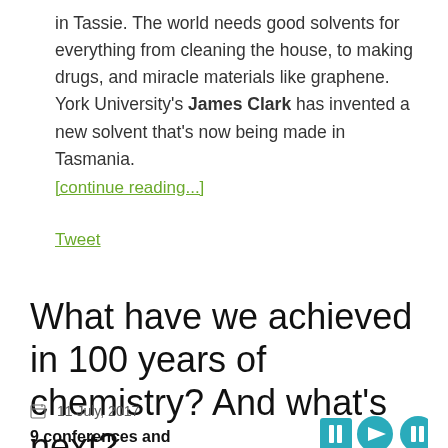in Tassie. The world needs good solvents for everything from cleaning the house, to making drugs, and miracle materials like graphene. York University's James Clark has invented a new solvent that's now being made in Tasmania.
[continue reading...]
Tweet
What have we achieved in 100 years of chemistry? And what's next?
11 July, 2017
9 conferences and